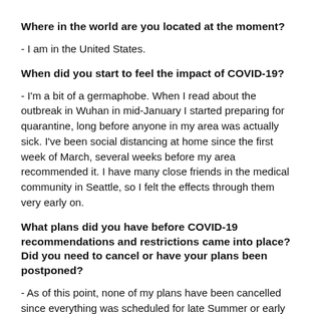Where in the world are you located at the moment?
- I am in the United States.
When did you start to feel the impact of COVID-19?
- I'm a bit of a germaphobe. When I read about the outbreak in Wuhan in mid-January I started preparing for quarantine, long before anyone in my area was actually sick. I've been social distancing at home since the first week of March, several weeks before my area recommended it. I have many close friends in the medical community in Seattle, so I felt the effects through them very early on.
What plans did you have before COVID-19 recommendations and restrictions came into place? Did you need to cancel or have your plans been postponed?
- As of this point, none of my plans have been cancelled since everything was scheduled for late Summer or early Autumn. However, I did have an international trip planned for September that I do think is very unlikely to happen this year.
How do you stay connected to the outdoors now - any tips to our readers/community on things to do and how to stay